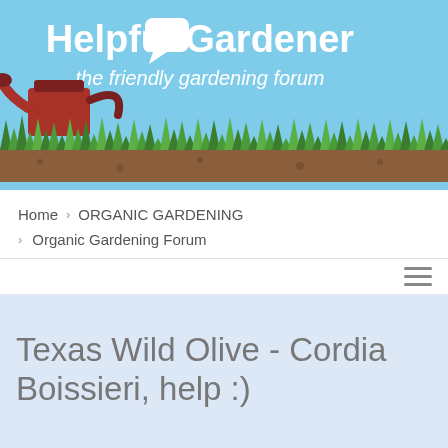[Figure (illustration): Helpful Gardener website banner with light blue background, watering can illustration on left, white speech bubble icon, bold white text 'Helpful Gardener' and subtitle 'the friendly gardening forum', with illustrated grass and soil at the bottom]
Home > ORGANIC GARDENING
> Organic Gardening Forum
Texas Wild Olive - Cordia Boissieri, help :)
Search this topic